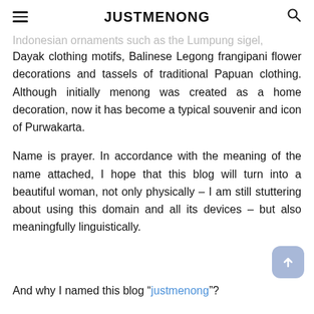JUSTMENONG
Indonesian ornaments such as the Lumpung sigel, Dayak clothing motifs, Balinese Legong frangipani flower decorations and tassels of traditional Papuan clothing. Although initially menong was created as a home decoration, now it has become a typical souvenir and icon of Purwakarta.
Name is prayer. In accordance with the meaning of the name attached, I hope that this blog will turn into a beautiful woman, not only physically – I am still stuttering about using this domain and all its devices – but also meaningfully linguistically.
And why I named this blog “justmenong”?